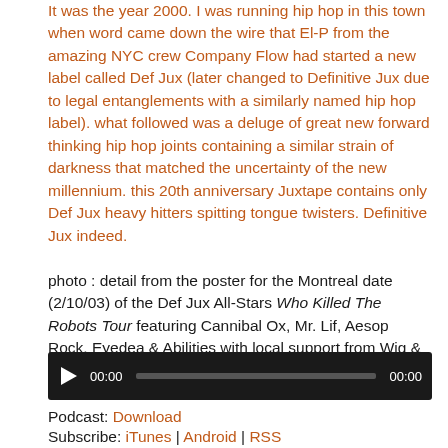It was the year 2000. I was running hip hop in this town when word came down the wire that El-P from the amazing NYC crew Company Flow had started a new label called Def Jux (later changed to Definitive Jux due to legal entanglements with a similarly named hip hop label). what followed was a deluge of great new forward thinking hip hop joints containing a similar strain of darkness that matched the uncertainty of the new millennium. this 20th anniversary Juxtape contains only Def Jux heavy hitters spitting tongue twisters. Definitive Jux indeed.
photo : detail from the poster for the Montreal date (2/10/03) of the Def Jux All-Stars Who Killed The Robots Tour featuring Cannibal Ox, Mr. Lif, Aesop Rock, Eyedea & Abilities with local support from Wig & luv
[Figure (other): Audio player with play button, 00:00 timestamp on left, progress bar, and 00:00 timestamp on right, dark background]
Podcast: Download
Subscribe: iTunes | Android | RSS